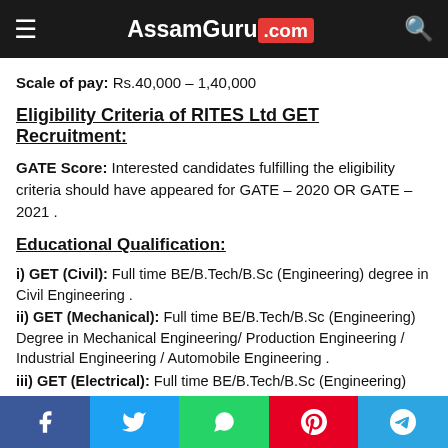AssamGuru.com
Scale of pay: Rs.40,000 – 1,40,000
Eligibility Criteria of RITES Ltd GET Recruitment:
GATE Score: Interested candidates fulfilling the eligibility criteria should have appeared for GATE – 2020 OR GATE – 2021 .
Educational Qualification:
i) GET (Civil): Full time BE/B.Tech/B.Sc (Engineering) degree in Civil Engineering .
ii) GET (Mechanical): Full time BE/B.Tech/B.Sc (Engineering) Degree in Mechanical Engineering/ Production Engineering / Industrial Engineering / Automobile Engineering .
iii) GET (Electrical): Full time BE/B.Tech/B.Sc (Engineering) degree
f  t  WhatsApp  Pinterest  Telegram